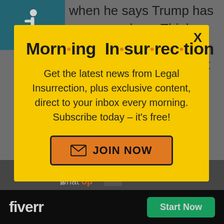when he says Trump has no core values. Think back to the insulting things he has said about ALL of the Republican contenders and tell me
[Figure (screenshot): Modal popup on a website showing 'Morning Insurrection' newsletter signup with yellow background, orange dot separators in the title, body text about Legal Insurrection newsletter, and an orange 'JOIN NOW' button. Behind the modal: teal wheelchair accessibility icon, article text, partial bottom text, Fiverr advertisement bar, and a small X close button for a secondary ad.]
Get the latest news from Legal Insurrection, plus exclusive content, direct to your inbox every morning. Subscribe today – it's free!
JOIN NOW
mouth. We can only imagine what
fiverr
Start Now